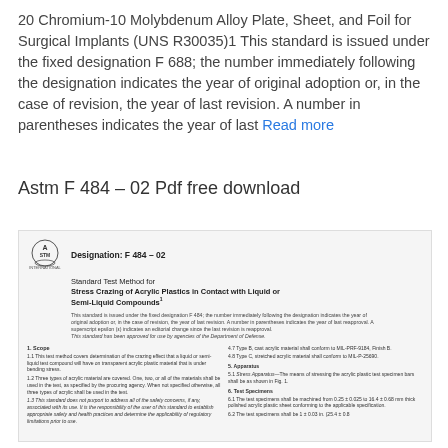20 Chromium-10 Molybdenum Alloy Plate, Sheet, and Foil for Surgical Implants (UNS R30035)1 This standard is issued under the fixed designation F 688; the number immediately following the designation indicates the year of original adoption or, in the case of revision, the year of last revision. A number in parentheses indicates the year of last Read more
Astm F 484 – 02 Pdf free download
[Figure (screenshot): Preview of ASTM F 484-02 standard document showing ASTM logo, designation F 484-02, title 'Standard Test Method for Stress Crazing of Acrylic Plastics in Contact with Liquid or Semi-Liquid Compounds', and document body text with sections on Scope and Apparatus.]